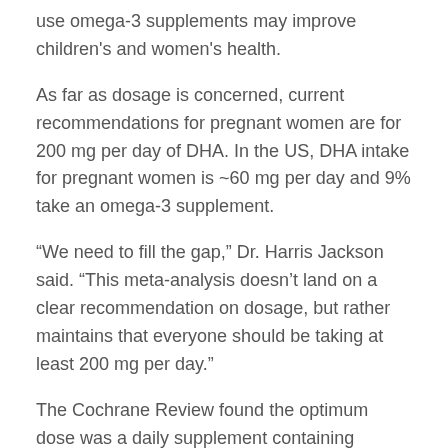use omega-3 supplements may improve children's and women's health.
As far as dosage is concerned, current recommendations for pregnant women are for 200 mg per day of DHA. In the US, DHA intake for pregnant women is ~60 mg per day and 9% take an omega-3 supplement.
“We need to fill the gap,” Dr. Harris Jackson said. “This meta-analysis doesn’t land on a clear recommendation on dosage, but rather maintains that everyone should be taking at least 200 mg per day.”
The Cochrane Review found the optimum dose was a daily supplement containing between 500 and 1000 milligrams (mg) of long-chain omega-3 fats (containing at least 500 mg of DHA) starting at 12 weeks of pregnancy.”